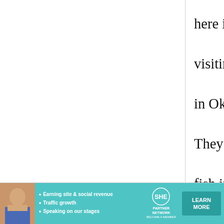here is required when visiting my Hawaiian family in Oklahoma before a party. They have tako and other fish in the freezer and have inarizushi no moto, seaweed, a variety of rices (in bins that you can scoop from) and noodles, as well as fresh
[Figure (other): Advertisement banner for SHE Partner Network featuring a woman, bullet points about earning site & social revenue, traffic growth, speaking on stages, SHE logo, and a Learn More button]